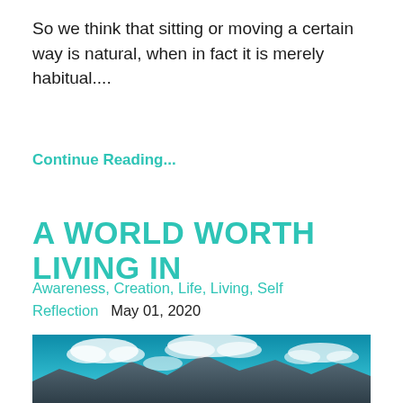So we think that sitting or moving a certain way is natural, when in fact it is merely habitual....
Continue Reading...
A WORLD WORTH LIVING IN
Awareness, Creation, Life, Living, Self Reflection    May 01, 2020
[Figure (photo): Landscape photo of a blue sky with white clouds and snow-capped mountains visible at the bottom]